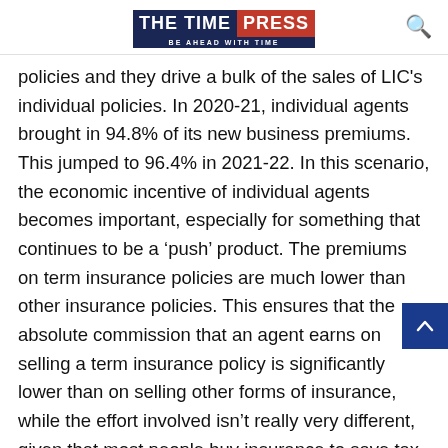THE TIME PRESS — BE AHEAD WITH TIME
policies and they drive a bulk of the sales of LIC's individual policies. In 2020-21, individual agents brought in 94.8% of its new business premiums. This jumped to 96.4% in 2021-22. In this scenario, the economic incentive of individual agents becomes important, especially for something that continues to be a 'push' product. The premiums on term insurance policies are much lower than other insurance policies. This ensures that the absolute commission that an agent earns on selling a term insurance policy is significantly lower than on selling other forms of insurance, while the effort involved isn't really very different, given that most people buy insurance to save tax.
This is something that needs to be set right, especially that a sudden death of an earning member in a family can